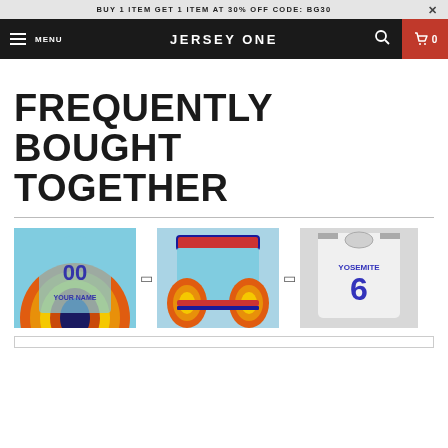BUY 1 ITEM GET 1 ITEM AT 30% OFF CODE: BG30
JERSEY ONE
FREQUENTLY BOUGHT TOGETHER
[Figure (photo): Three basketball jersey products shown side-by-side: a custom blue jersey with number 00 and 'YOUR NAME', a pair of blue/orange shorts, and a white jersey with 'YOSEMITE 6']